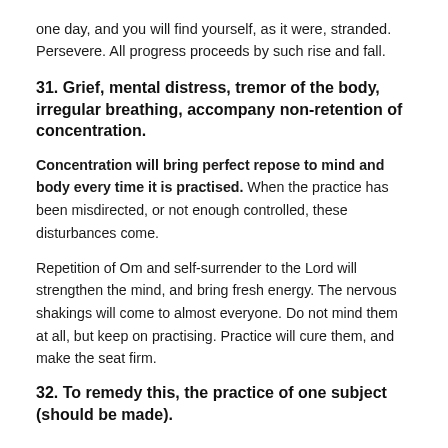one day, and you will find yourself, as it were, stranded. Persevere. All progress proceeds by such rise and fall.
31. Grief, mental distress, tremor of the body, irregular breathing, accompany non-retention of concentration.
Concentration will bring perfect repose to mind and body every time it is practised. When the practice has been misdirected, or not enough controlled, these disturbances come.
Repetition of Om and self-surrender to the Lord will strengthen the mind, and bring fresh energy. The nervous shakings will come to almost everyone. Do not mind them at all, but keep on practising. Practice will cure them, and make the seat firm.
32. To remedy this, the practice of one subject (should be made).